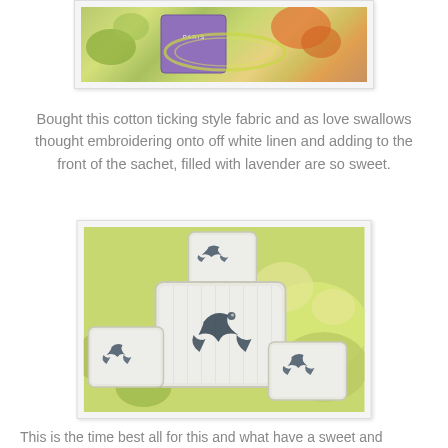[Figure (photo): Photo of fabric items including a purple Paris-themed bag and floral fabric with green and orange tones]
Bought this cotton ticking style fabric and as love swallows thought embroidering onto off white linen and adding to the front of the sachet, filled with lavender are so sweet.
[Figure (photo): Photo of three small linen sachets with embroidered swallow birds, placed on a floral decorated surface with green and yellow tones]
This is the time best all for this and what have a sweet and